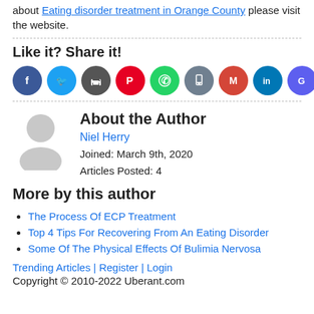about Eating disorder treatment in Orange County please visit the website.
Like it? Share it!
[Figure (infographic): Row of 10 colored social share icon circles: Facebook (blue, f), Twitter (light blue, bird), Print (gray, printer), Pinterest (red, P), WhatsApp (green, phone), Save (gray-blue, bookmark), Gmail (red, M), LinkedIn (teal, in), Google (purple-blue, G), More (orange-red, +)]
About the Author
Niel Herry
Joined: March 9th, 2020
Articles Posted: 4
More by this author
The Process Of ECP Treatment
Top 4 Tips For Recovering From An Eating Disorder
Some Of The Physical Effects Of Bulimia Nervosa
Trending Articles | Register | Login
Copyright © 2010-2022 Uberant.com